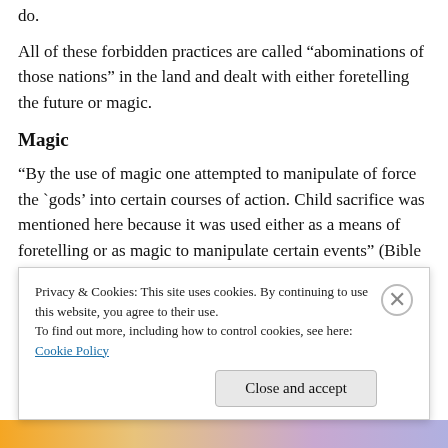do.
All of these forbidden practices are called “abominations of those nations” in the land and dealt with either foretelling the future or magic.
Magic
“By the use of magic one attempted to manipulate of force the ‘gods’ into certain courses of action. Child sacrifice was mentioned here because it was used either as a means of foretelling or as magic to manipulate certain events” (Bible Knowledge Commentary, p. 206)
Privacy & Cookies: This site uses cookies. By continuing to use this website, you agree to their use.
To find out more, including how to control cookies, see here: Cookie Policy